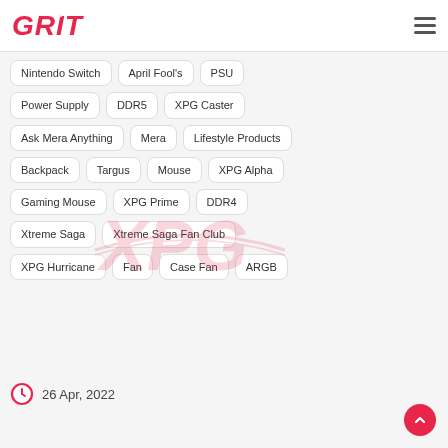GRIT
Nintendo Switch
April Fool's
PSU
Power Supply
DDR5
XPG Caster
Ask Mera Anything
Mera
Lifestyle Products
Backpack
Targus
Mouse
XPG Alpha
Gaming Mouse
XPG Prime
DDR4
Xtreme Saga
Xtreme Saga Fan Club
XPG Hurricane
Fan
Case Fan
ARGB
26 Apr, 2022